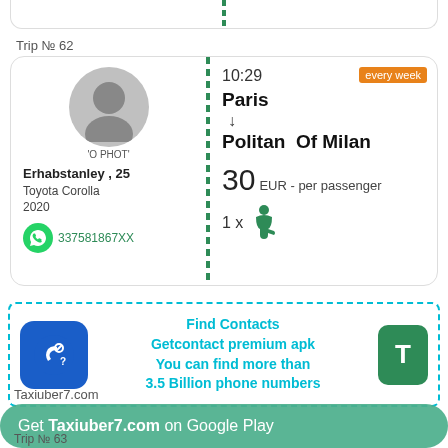Trip № 62
[Figure (infographic): Trip card for Erhabstanley, age 25, Toyota Corolla 2020. Route: Paris to Politan Of Milan, 10:29, every week, 30 EUR per passenger, 1 seat. Phone: 337581867XX]
[Figure (infographic): Advertisement banner: Find Contacts, Getcontact premium apk, You can find more than 3.5 Billion phone numbers]
Taxiuber7.com
Get Taxiuber7.com on Google Play
Trip № 63